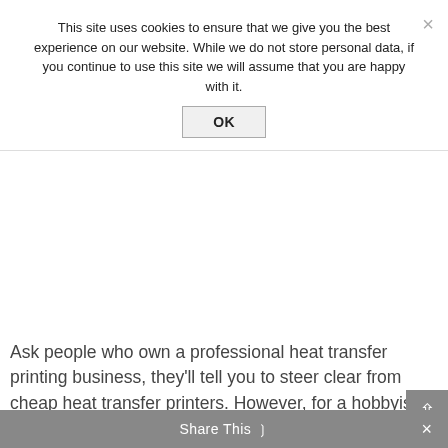This site uses cookies to ensure that we give you the best experience on our website. While we do not store personal data, if you continue to use this site we will assume that you are happy with it.
OK
Ask people who own a professional heat transfer printing business, they'll tell you to steer clear from cheap heat transfer printers. However, for a hobbyist who only requires a simple printer with only the basic functions for heat transfers, a pricey high-end model won't be necessary. If you're learning the ropes and don't want to risk lots of dollars on these units, you are well off with a cheap heat transfer printer like Canon's MX492.
Share This ∨